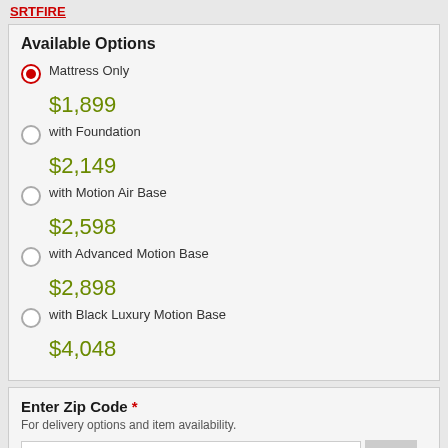SRTFIRE
Available Options
Mattress Only $1,899
with Foundation $2,149
with Motion Air Base $2,598
with Advanced Motion Base $2,898
with Black Luxury Motion Base $4,048
Enter Zip Code *
For delivery options and item availability.